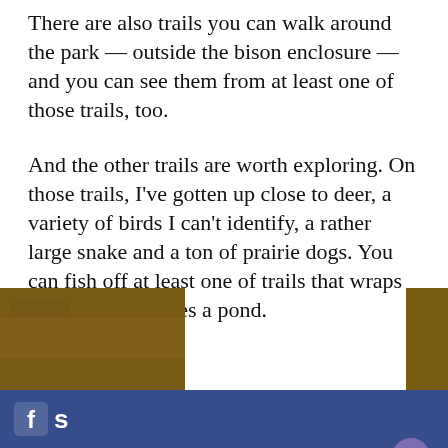There are also trails you can walk around the park — outside the bison enclosure — and you can see them from at least one of those trails, too.
And the other trails are worth exploring. On those trails, I've gotten up close to deer, a variety of birds I can't identify, a rather large snake and a ton of prairie dogs. You can fish off at least one of trails that wraps around and bridges a pond.
If guided... Mountain... walks, g... educatio... more ab...
[Figure (photo): Partial photo showing a brown earthen surface, partially obscured by a newsletter modal popup overlay.]
You clearly care about Denver. Sign up for our newsletter and get everything you need to know about the city you love.
Enter your email address here... Sign me up!